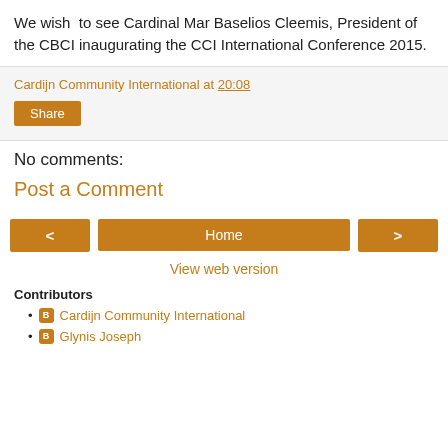We wish to see Cardinal Mar Baselios Cleemis, President of the CBCI inaugurating the CCI International Conference 2015.
Cardijn Community International at 20:08
Share
No comments:
Post a Comment
< Home >
View web version
Contributors
Cardijn Community International
Glynis Joseph